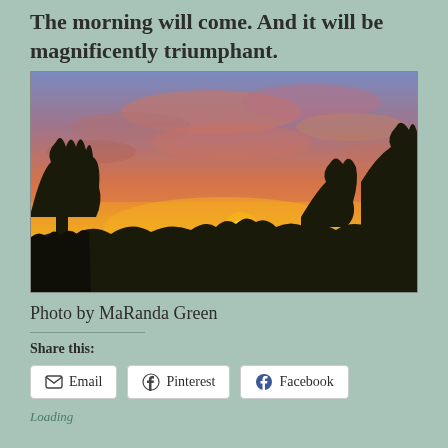The morning will come. And it will be magnificently triumphant.
[Figure (photo): Sunset or sunrise photo showing silhouettes of trees against a dramatic orange, red, pink, and purple sky with clouds.]
Photo by MaRanda Green
Share this:
Email  Pinterest  Facebook
Loading